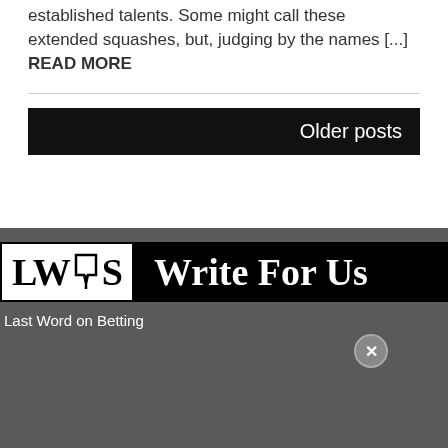established talents. Some might call these extended squashes, but, judging by the names [...] READ MORE
[Figure (other): Older posts navigation button — black bar with white text 'Older posts']
[Figure (logo): LWS logo with megaphone icon and 'Write For Us' banner in black background with white serif text]
Last Word on Betting
[Figure (other): Close (X) button circle in dark gray section]